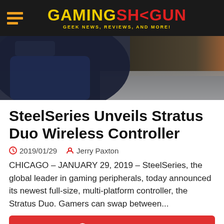GAMING SHOGUN — GEEK NEWS, REVIEWS, AND MORE!
[Figure (photo): Hero image showing a person's lap in dark jeans with a blurred background, partial view from above]
SteelSeries Unveils Stratus Duo Wireless Controller
2019/01/29   Jerry Paxton
CHICAGO – JANUARY 29, 2019 – SteelSeries, the global leader in gaming peripherals, today announced its newest full-size, multi-platform controller, the Stratus Duo. Gamers can swap between...
Read More